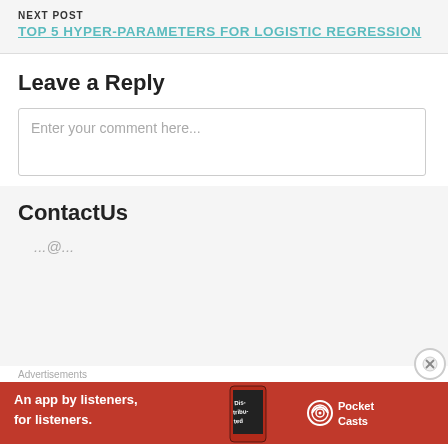NEXT POST
TOP 5 HYPER-PARAMETERS FOR LOGISTIC REGRESSION
Leave a Reply
Enter your comment here...
ContactUs
...@...
Advertisements
[Figure (illustration): Pocket Casts advertisement banner: red background, phone image, text 'An app by listeners, for listeners.' and Pocket Casts logo]